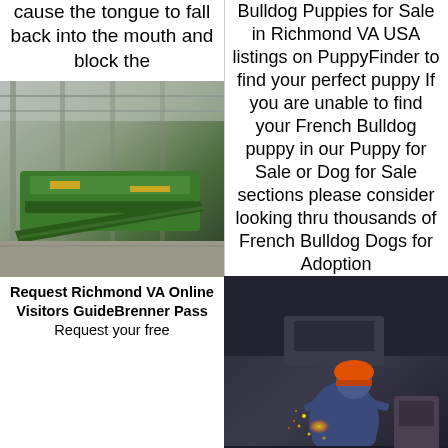cause the tongue to fall back into the mouth and block the
Bulldog Puppies for Sale in Richmond VA USA listings on PuppyFinder to find your perfect puppy If you are unable to find your French Bulldog puppy in our Puppy for Sale or Dog for Sale sections please consider looking thru thousands of French Bulldog Dogs for Adoption
[Figure (photo): Industrial factory interior with green heavy machinery/conveyor equipment on a warehouse floor]
[Figure (photo): Worker in blue overalls and orange hard hat doing welding work with visible sparks]
Request Richmond VA Online Visitors GuideBrenner Pass Request your free
Pierre Short SBCHS Richmond VA MaxPrepsKamguia Pierre MD Sheila Ln Richmond VA